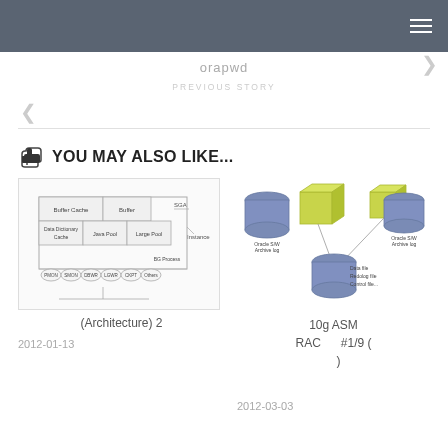Navigation bar with hamburger menu
orapwd
PREVIOUS STORY
YOU MAY ALSO LIKE...
[Figure (engineering-diagram): Oracle database architecture diagram showing SGA components: Buffer Cache, Buffer, Data Dictionary Cache, Java Pool, Large Pool, and background processes PMON, SMON, DBWR, LGWR, CKPT, Others, BG Process. Instance label on right.]
(Architecture) 2
2012-01-13
[Figure (engineering-diagram): Oracle 10g ASM RAC diagram showing Oracle S/W Archive log cylinders, a server/cube shapes in yellow-green, and a data file/redo log/control file cylinder at the bottom center.]
10g ASM RAC #1/9 ( )
2012-03-03